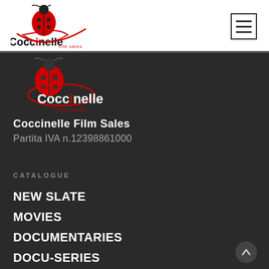[Figure (logo): Coccinelle Film Sales logo with ladybug in red circle on white background, top header]
[Figure (other): Hamburger menu icon, three horizontal lines in square border]
[Figure (logo): Coccinelle Film Sales logo with ladybug in red circle on dark background, centered in main area]
Coccinelle Film Sales
Partita IVA n.12398861000
CATALOGUE
NEW SLATE
MOVIES
DOCUMENTARIES
DOCU-SERIES